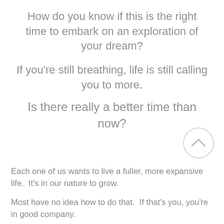How do you know if this is the right time to embark on an exploration of your dream?
If you're still breathing, life is still calling you to more.
Is there really a better time than now?
[Figure (illustration): A light gray circle with an upward-pointing chevron/caret icon inside it]
Each one of us wants to live a fuller, more expansive life.  It's in our nature to grow.
Most have no idea how to do that.  If that's you, you're in good company.